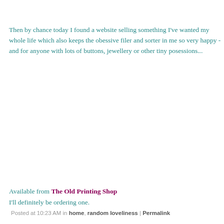Then by chance today I found a website selling something I've wanted my whole life which also keeps the obessive filer and sorter in me so very happy - and for anyone with lots of buttons, jewellery or other tiny posessions...
Available from The Old Printing Shop
I'll definitely be ordering one.
Posted at 10:23 AM in home, random loveliness | Permalink